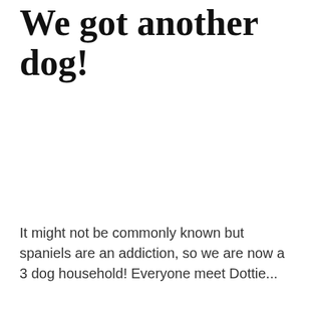We got another dog!
It might not be commonly known but spaniels are an addiction, so we are now a 3 dog household! Everyone meet Dottie...